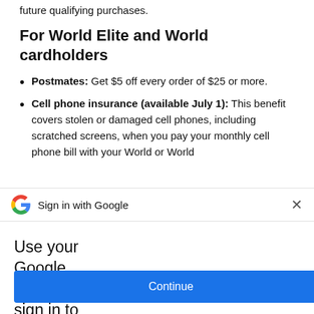future qualifying purchases.
For World Elite and World cardholders
Postmates: Get $5 off every order of $25 or more.
Cell phone insurance (available July 1): This benefit covers stolen or damaged cell phones, including scratched screens, when you pay your monthly cell phone bill with your World or World
Sign in with Google
Use your Google Account to sign in to NerdWallet
No more passwords to remember. Signing in is fast, simple and secure.
Continue